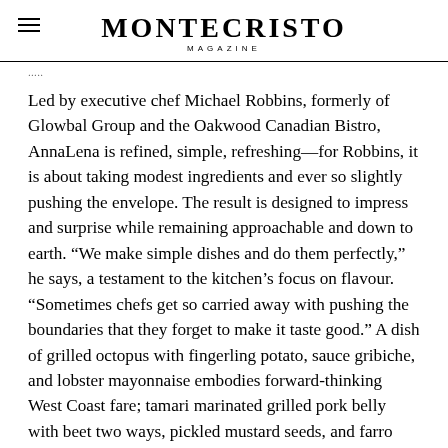MONTECRISTO MAGAZINE
Led by executive chef Michael Robbins, formerly of Glowbal Group and the Oakwood Canadian Bistro, AnnaLena is refined, simple, refreshing—for Robbins, it is about taking modest ingredients and ever so slightly pushing the envelope. The result is designed to impress and surprise while remaining approachable and down to earth. “We make simple dishes and do them perfectly,” he says, a testament to the kitchen’s focus on flavour. “Sometimes chefs get so carried away with pushing the boundaries that they forget to make it taste good.” A dish of grilled octopus with fingerling potato, sauce gribiche, and lobster mayonnaise embodies forward-thinking West Coast fare; tamari marinated grilled pork belly with beet two ways, pickled mustard seeds, and farro verde is